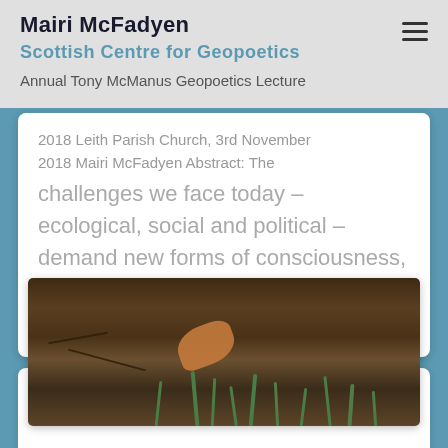Mairi McFadyen | Scottish Centre for Geopoetics
Annual Tony McManus Geopoetics Lecture 2018 Leith Parish Church, 3rd November 2018 Mairi McFadyen Abstract: The challenges we face today – ecological, social and political – demand new forms of consciousness, creativity and collective action. Read more…
[Figure (photo): Close-up photograph of soil and leaf litter with green snowdrop shoots emerging from dark earth and autumn leaves]
UNCATEGORISED